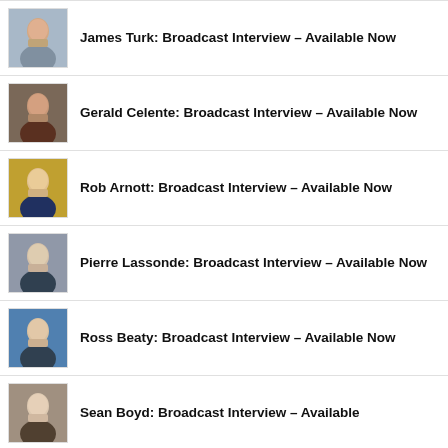James Turk: Broadcast Interview – Available Now
Gerald Celente: Broadcast Interview – Available Now
Rob Arnott: Broadcast Interview – Available Now
Pierre Lassonde: Broadcast Interview – Available Now
Ross Beaty: Broadcast Interview – Available Now
Sean Boyd: Broadcast Interview – Available